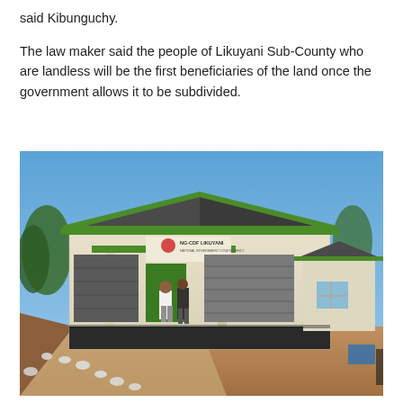said Kibunguchy.
The law maker said the people of Likuyani Sub-County who are landless will be the first beneficiaries of the land once the government allows it to be subdivided.
[Figure (photo): A cream and green-roofed building with 'NG-CDF LIKUYANI' signage at the entrance. Two people stand at the entrance under the covered porch. Sandy driveway in foreground with white stones lining a path. Clear blue sky in background with trees visible.]